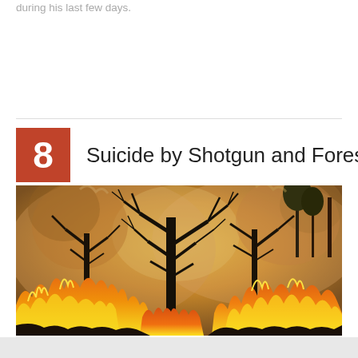during his last few days.
8  Suicide by Shotgun and Forest Fire
[Figure (photo): A forest fire with large orange and yellow flames burning at the base of trees. The trees are silhouetted against a smoky, hazy orange-yellow sky. The scene shows intense flames on both sides of the image with a dark tree in the center.]